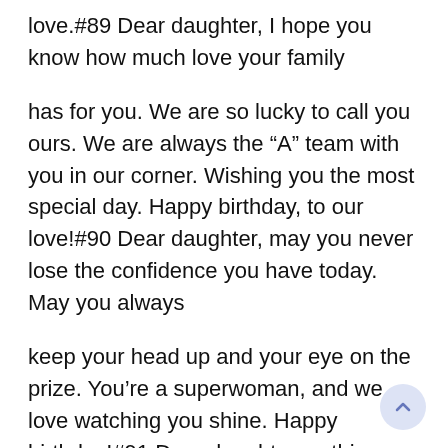love.#89 Dear daughter, I hope you know how much love your family
has for you. We are so lucky to call you ours. We are always the “A” team with you in our corner. Wishing you the most special day. Happy birthday, to our love!#90 Dear daughter, may you never lose the confidence you have today. May you always
keep your head up and your eye on the prize. You’re a superwoman, and we love watching you shine. Happy birthday!#91 Dear daughter, nothing makes me happier than seeing you smile. From the day